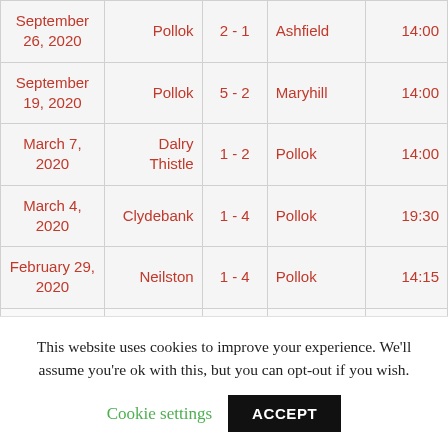| Date | Home | Score | Away | Time |
| --- | --- | --- | --- | --- |
| September 26, 2020 | Pollok | 2 - 1 | Ashfield | 14:00 |
| September 19, 2020 | Pollok | 5 - 2 | Maryhill | 14:00 |
| March 7, 2020 | Dalry Thistle | 1 - 2 | Pollok | 14:00 |
| March 4, 2020 | Clydebank | 1 - 4 | Pollok | 19:30 |
| February 29, 2020 | Neilston | 1 - 4 | Pollok | 14:15 |
| February 8 ... | Pollok | 0 - 1 ... | Greenock ... | 14:00 |
This website uses cookies to improve your experience. We'll assume you're ok with this, but you can opt-out if you wish.
Cookie settings | ACCEPT